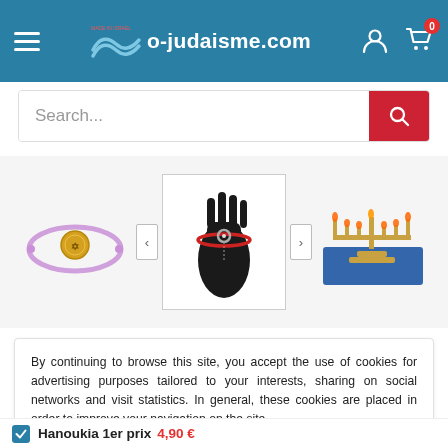o-judaisme.com
[Figure (screenshot): Search bar with red search button on blue-headed e-commerce site]
[Figure (photo): Product carousel showing three jewelry and Judaica items: purple bracelet with gold coin, red string bracelet on black hand display, and decorative menorah]
By continuing to browse this site, you accept the use of cookies for advertising purposes tailored to your interests, sharing on social networks and visit statistics. In general, these cookies are placed in order to improve your navigation on the site.
Find out more
I accept
Hanoukia 1er prix  4,90 €